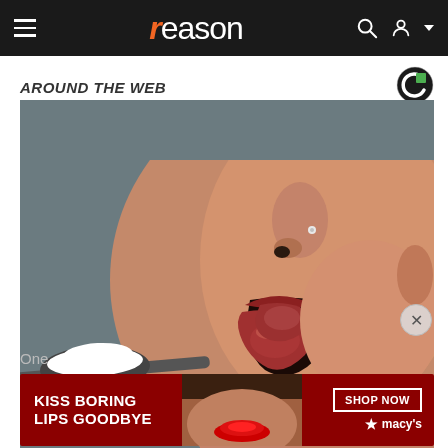reason (navigation bar with hamburger menu, logo, search and user icons)
AROUND THE WEB
[Figure (photo): Close-up profile of a woman's face with open mouth and glossy lips, with a spoon holding white powder (sugar/salt) approaching from the left, against a gray background.]
One... Belly...
[Figure (photo): Advertisement banner for Macy's lipstick: dark red background with text 'KISS BORING LIPS GOODBYE', photo of woman with red lips, 'SHOP NOW' button and Macy's star logo]